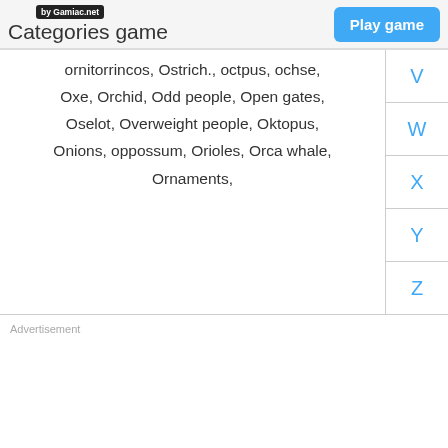by Gamiac.net
Categories game
ornitorrincos,  Ostrich.,  octpus,  ochse,  Oxe,  Orchid,  Odd people,  Open gates,  Oselot,  Overweight people,  Oktopus,  Onions,  oppossum,  Orioles,  Orca whale,  Ornaments,
V
W
X
Y
Z
Advertisement